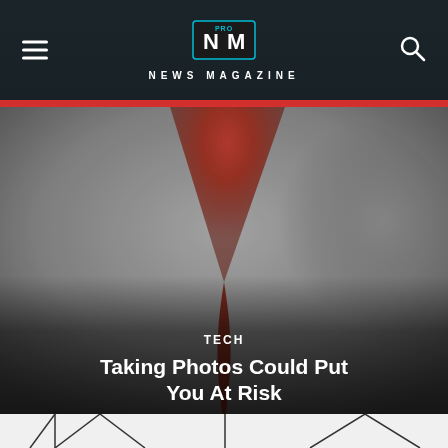NEWS MAGAZINE
[Figure (photo): Abstract photo of dark red/orange funnel or liquid drop shape against grey blurred background, with category label TECH and article title overlay]
TECH
Taking Photos Could Put You At Risk
[Figure (photo): Close-up photo of umbrella ribs/spokes pattern in black and white, partially visible at bottom of page]